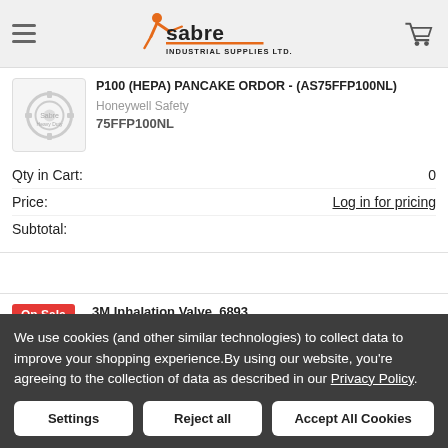Sabre Industrial Supplies Ltd.
P100 (HEPA) PANCAKE ORDOR - (AS75FFP100NL)
Honeywell Safety
75FFP100NL
Qty in Cart: 0
Price: Log in for pricing
Subtotal:
3M Inhalation Valve, 6893
3M
We use cookies (and other similar technologies) to collect data to improve your shopping experience.By using our website, you're agreeing to the collection of data as described in our Privacy Policy.
Settings
Reject all
Accept All Cookies